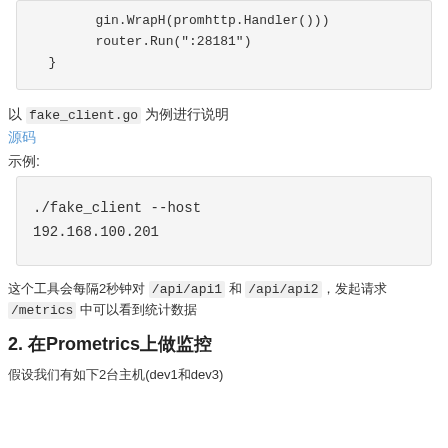gin.WrapH(promhttp.Handler()))
    router.Run(":28181")
  }
以 fake_client.go 为例进行说明
源码
示例:
./fake_client --host 192.168.100.201
这个工具会每隔2秒钟对 /api/api1 和 /api/api2, 发起请求 /metrics 中可以看到统计数据
2. 在Prometrics上做监控
假设我们有如下2台主机(dev1和dev3)